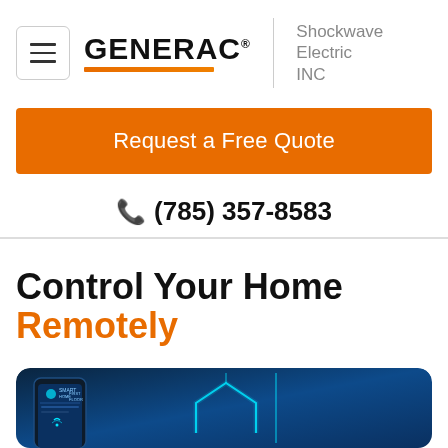[Figure (logo): Generac logo with hamburger menu icon on the left and Shockwave Electric INC company name on the right separated by a vertical divider]
[Figure (other): Orange 'Request a Free Quote' call-to-action button]
☎ (785) 357-8583
Control Your Home Remotely
[Figure (photo): Dark blue background showing a smartphone mockup with home automation app and a glowing teal house outline graphic]